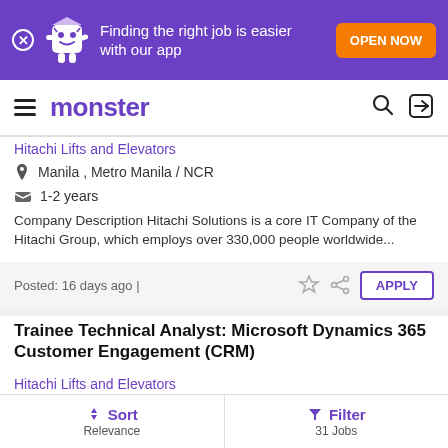[Figure (screenshot): Monster.com app promotion banner with purple background, mascot character, text 'Finding the right job is easier with our app', and orange 'OPEN NOW' button]
monster
Hitachi Lifts and Elevators
Manila , Metro Manila / NCR
1-2 years
Company Description Hitachi Solutions is a core IT Company of the Hitachi Group, which employs over 330,000 people worldwide...
Posted: 16 days ago |
APPLY
Trainee Technical Analyst: Microsoft Dynamics 365 Customer Engagement (CRM)
Hitachi Lifts and Elevators
Manila , Metro Manila / NCR
Sort Relevance | Filter 31 Jobs